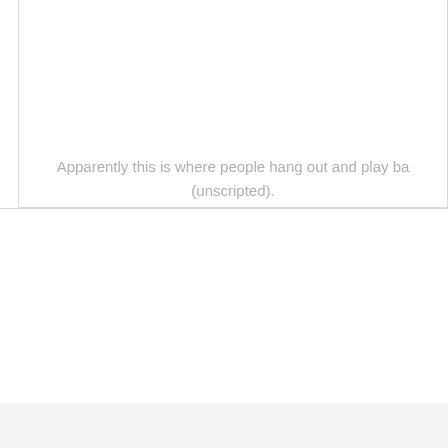Apparently this is where people hang out and play ba... (unscripted).